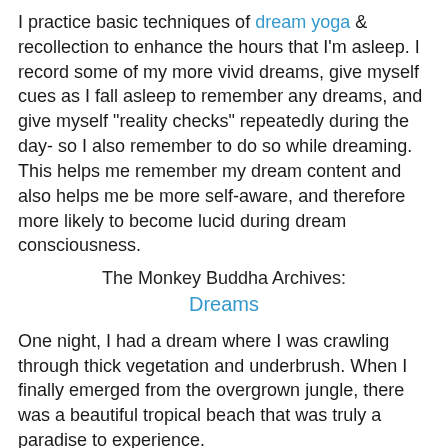I practice basic techniques of dream yoga & recollection to enhance the hours that I'm asleep. I record some of my more vivid dreams, give myself cues as I fall asleep to remember any dreams, and give myself "reality checks" repeatedly during the day- so I also remember to do so while dreaming. This helps me remember my dream content and also helps me be more self-aware, and therefore more likely to become lucid during dream consciousness.
The Monkey Buddha Archives:
Dreams
One night, I had a dream where I was crawling through thick vegetation and underbrush. When I finally emerged from the overgrown jungle, there was a beautiful tropical beach that was truly a paradise to experience.
Soon after having this dream, I was browsing the blog Awakening Our Truth and saw this image, that looked exactly like the scene in my mind's eye!
[Figure (photo): A tropical beach scene partially visible at the bottom of the page]